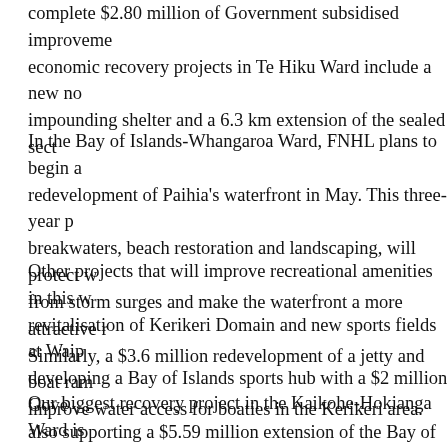complete $2.80 million of Government subsidised improvements. Other economic recovery projects in Te Hiku Ward include a new no impounding shelter and a 6.3 km extension of the sealed sect...
In the Bay of Islands-Whangaroa Ward, FNHL plans to begin a redevelopment of Paihia's waterfront in May. This three-year project, including breakwaters, beach restoration and landscaping, will protect waterfront properties from storm surges and make the waterfront a more attractive recreational area. Similarly, a $3.6 million redevelopment of a jetty and boat ramp will improve water access for boaties in the Kerikeri area.
Other projects that will improve recreational amenities in this ward include revitalisation of Kerikeri Domain and new sports fields at Waipapa. FNHL is developing a Bay of Islands sports hub with a $2 million Government grant. We are also supporting a $5.59 million extension of the Bay of Islands Coastal Trail and upgrading the road to Ruapekapeka Pa at a cost of $6.5 million to make the Road less flood-prone.
Our biggest recovery project in the Kaikohe-Hokianga Ward is the Business and Enterprise Park where infrastructure works funded by $19 million from the Provincial Growth Fund are underway. I visited this FNHL project recently and was pleased to hear that the park already has five tenants who plan to establish new business ventures that will create jobs for 150 people.